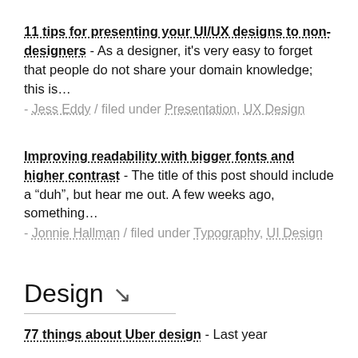11 tips for presenting your UI/UX designs to non-designers - As a designer, it's very easy to forget that people do not share your domain knowledge; this is… - Jess Eddy / filed under Presentation, UX Design
Improving readability with bigger fonts and higher contrast - The title of this post should include a "duh", but hear me out. A few weeks ago, something… - Jonnie Hallman / filed under Typography, UI Design
Design ↘
77 things about Uber design - Last year